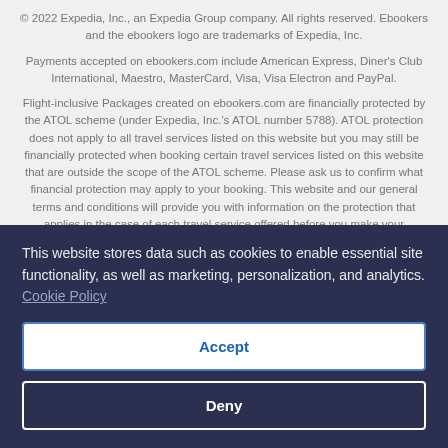© 2022 Expedia, Inc., an Expedia Group company. All rights reserved. Ebookers and the ebookers logo are trademarks of Expedia, Inc.
Payments accepted on ebookers.com include American Express, Diner's Club International, Maestro, MasterCard, Visa, Visa Electron and PayPal.
Flight-inclusive Packages created on ebookers.com are financially protected by the ATOL scheme (under Expedia, Inc.'s ATOL number 5788). ATOL protection does not apply to all travel services listed on this website but you may still be financially protected when booking certain travel services listed on this website that are outside the scope of the ATOL scheme. Please ask us to confirm what financial protection may apply to your booking. This website and our general terms and conditions will provide you with information on the protection that applies in the case of each travel service offered before you make your
This website stores data such as cookies to enable essential site functionality, as well as marketing, personalization, and analytics. Cookie Policy
Accept
Deny